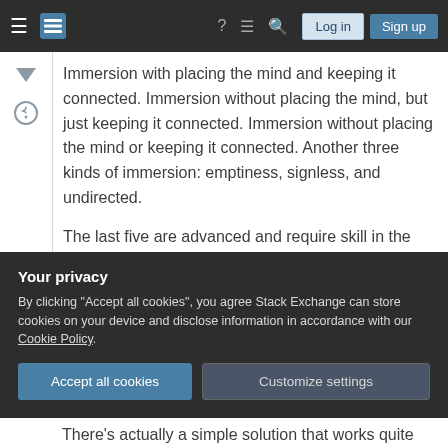Stack Exchange navigation bar with Log in and Sign up buttons
Immersion with placing the mind and keeping it connected. Immersion without placing the mind, but just keeping it connected. Immersion without placing the mind or keeping it connected. Another three kinds of immersion: emptiness, signless, and undirected.
The last five are advanced and require skill in the first, which is placing the mind and keeping it connected. As you meditate, you keep your mind
Your privacy
By clicking "Accept all cookies", you agree Stack Exchange can store cookies on your device and disclose information in accordance with our Cookie Policy.
Accept all cookies   Customize settings
There's actually a simple solution that works quite